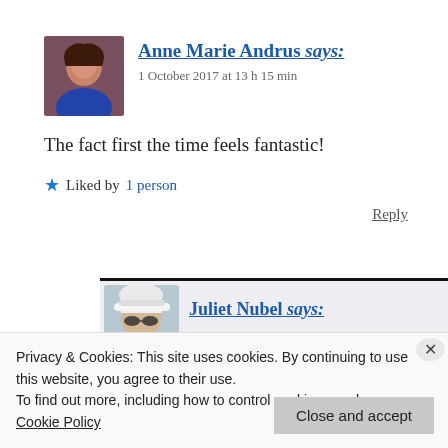[Figure (photo): Avatar photo of Anne Marie Andrus, a woman with long dark hair wearing a blue top]
Anne Marie Andrus says:
1 October 2017 at 13 h 15 min
The fact first the time feels fantastic!
★ Liked by 1 person
Reply
[Figure (photo): Avatar photo of Juliet Nubel, a woman wearing a white hat and sunglasses]
Juliet Nubel says:
Privacy & Cookies: This site uses cookies. By continuing to use this website, you agree to their use.
To find out more, including how to control cookies, see here: Cookie Policy
Close and accept